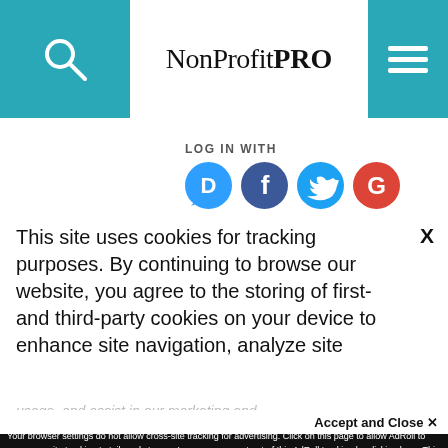NonProfitPRO
LOG IN WITH
[Figure (logo): Social login icons: Disqus (blue speech bubble D), Facebook (dark blue circle f), Twitter (light blue circle bird), Google (red circle G)]
OR SIGN UP WITH DISQUS ?
Name
TERRY PIOUS PER...
This site uses cookies for tracking purposes. By continuing to browse our website, you agree to the storing of first- and third-party cookies on your device to enhance site navigation, analyze site usage, and assist in our marketing and
Accept and Close ✕
Your browser settings do not allow cross-site tracking for advertising. Click on this page to allow AdRoll to use cross-site tracking to tailor ads to you. Learn more or opt out of this AdRoll tracking by clicking here. This message only appears once.